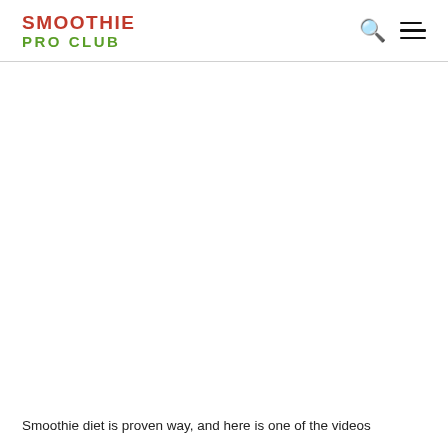SMOOTHIE PRO CLUB
[Figure (other): Large blank white content area below the header, likely a video embed placeholder]
Smoothie diet is proven way, and here is one of the videos